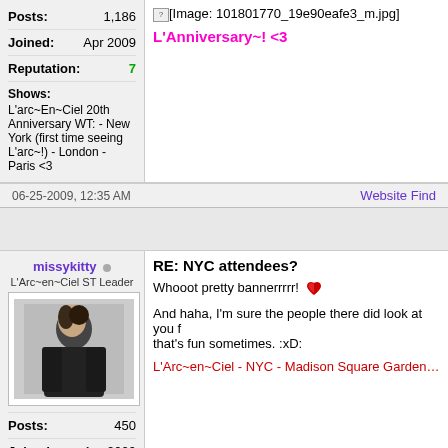Posts: 1,186
Joined: Apr 2009
Reputation: 7
Shows: L'arc~En~Ciel 20th Anniversary WT: - New York (first time seeing L'arc~!) - London - Paris <3
L'Anniversary~! <3
06-25-2009, 12:35 AM
Website Find
missykitty
L'Arc~en~Ciel ST Leader
[Figure (photo): Avatar photo of a person in dark clothing]
RE: NYC attendees?
Whooot pretty bannerrrrr!
And haha, I'm sure the people there did look at you f... that's fun sometimes. :xD:
L'Arc~en~Ciel - NYC - Madison Square Garden - Ma...
Posts: 450
Joined: Apr 2009
Reputation: 2